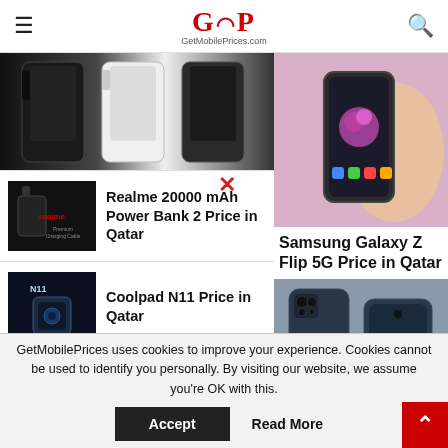GetMobilePrices.com
[Figure (photo): Three smartphones (white, black) shown from behind — top-left article thumbnail]
×
[Figure (photo): Hand holding Samsung Galaxy Z Flip 5G showing flower on folding screen — right column top image]
Samsung Galaxy Z Flip 5G Price in Qatar
[Figure (photo): Realme power bank product photo — article thumbnail]
Realme 20000 mAh Power Bank 2 Price in Qatar
[Figure (photo): Coolpad N11 promotional dark image — article thumbnail]
Coolpad N11 Price in Qatar
[Figure (photo): Xiaomi product thumbnail — partially visible]
Xiaomi Mi Inkjet
[Figure (photo): Dark blue smartphone front and back view — right column bottom image]
GetMobilePrices uses cookies to improve your experience. Cookies cannot be used to identify you personally. By visiting our website, we assume you're OK with this.
Accept
Read More